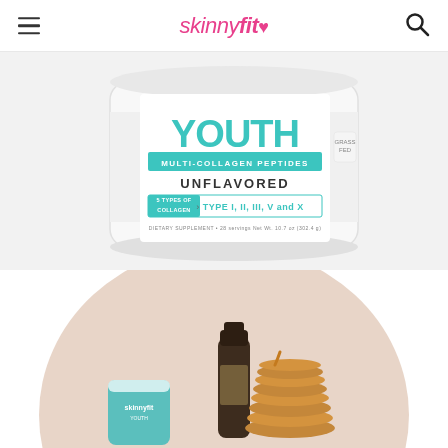skinnyfit♥
[Figure (photo): SkinnyFit YOUTH Multi-Collagen Peptides product container, white tub with teal/mint branding showing YOUTH text, multi-collagen peptides label, unflavored variant, 5 types of collagen TYPE I, II, III, V and X, dietary supplement]
[Figure (photo): SkinnyFit product with pancakes stacked and a dark bottle, on a pink/beige circular background, product lifestyle shot]